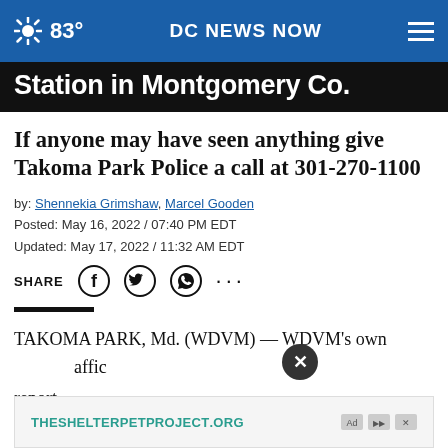83° DC NEWS NOW
Station in Montgomery Co.
If anyone may have seen anything give Takoma Park Police a call at 301-270-1100
by: Shennekia Grimshaw, Marcel Gooden
Posted: May 16, 2022 / 07:40 PM EDT
Updated: May 17, 2022 / 11:32 AM EDT
SHARE
TAKOMA PARK, Md. (WDVM) — WDVM's own traffic reporter happened to her
[Figure (other): Ad banner: THESHELTERPETPROJECT.ORG with ad icons]